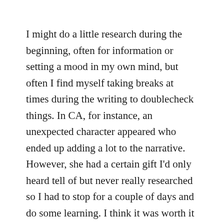I might do a little research during the beginning, often for information or setting a mood in my own mind, but often I find myself taking breaks at times during the writing to doublecheck things. In CA, for instance, an unexpected character appeared who ended up adding a lot to the narrative. However, she had a certain gift I'd only heard tell of but never really researched so I had to stop for a couple of days and do some learning. I think it was worth it in the end, even if I didn't use everything I studied, and I hope the readers enjoyed that added layer.
What's the strangest thing you've researched